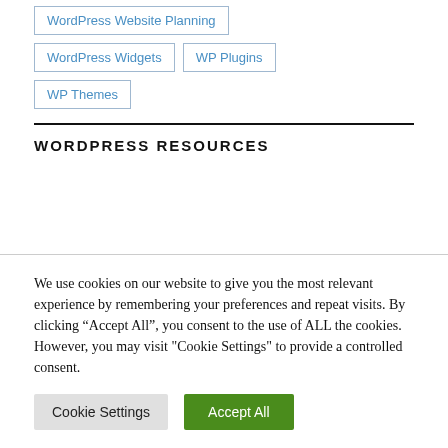WordPress Website Planning
WordPress Widgets
WP Plugins
WP Themes
WORDPRESS RESOURCES
We use cookies on our website to give you the most relevant experience by remembering your preferences and repeat visits. By clicking “Accept All”, you consent to the use of ALL the cookies. However, you may visit "Cookie Settings" to provide a controlled consent.
Cookie Settings | Accept All